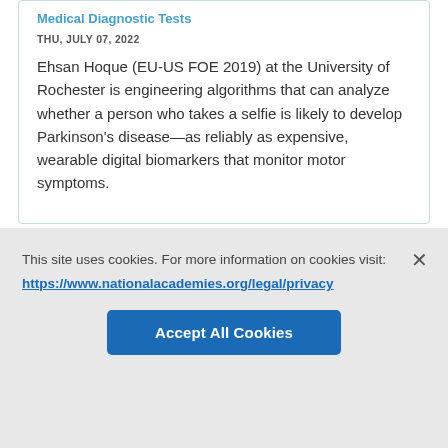Medical Diagnostic Tests
THU, JULY 07, 2022
Ehsan Hoque (EU-US FOE 2019) at the University of Rochester is engineering algorithms that can analyze whether a person who takes a selfie is likely to develop Parkinson's disease—as reliably as expensive, wearable digital biomarkers that monitor motor symptoms.
This site uses cookies. For more information on cookies visit:
https://www.nationalacademies.org/legal/privacy
Accept All Cookies